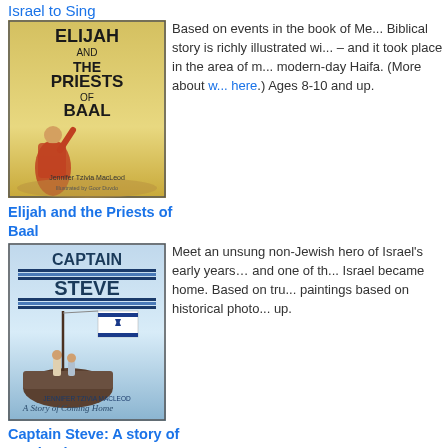Israel to Sing
[Figure (illustration): Book cover: Elijah and the Priests of Baal by Jennifer Tzivia MacLeod, illustrated by Goor Duvdo. Shows a robed figure kneeling with a desert background.]
Based on events in the book of Me... Biblical story is richly illustrated wi... – and it took place in the area of m... modern-day Haifa. (More about w... here.) Ages 8-10 and up.
Elijah and the Priests of Baal
[Figure (illustration): Book cover: Captain Steve: A Story of Coming Home by Jennifer Tzivia MacLeod. Shows a boat with the Israeli flag and figures aboard.]
Meet an unsung non-Jewish hero of Israel's early years… and one of th... Israel became home. Based on tru... paintings based on historical photo... up.
Captain Steve: A story of coming home